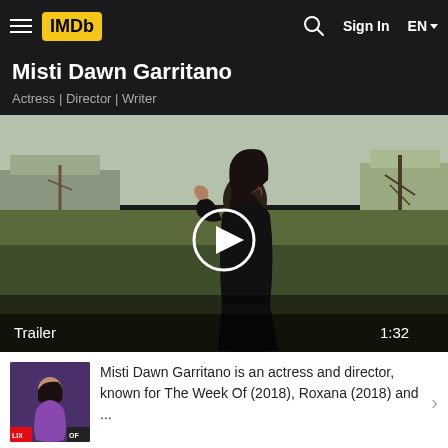IMDb | Sign In | EN
Misti Dawn Garritano
Actress | Director | Writer
[Figure (screenshot): Video thumbnail showing a woman in a black coat outdoors with a play button overlay, labeled Trailer 1:32]
Misti Dawn Garritano is an actress and director, known for The Week Of (2018), Roxana (2018) and ...